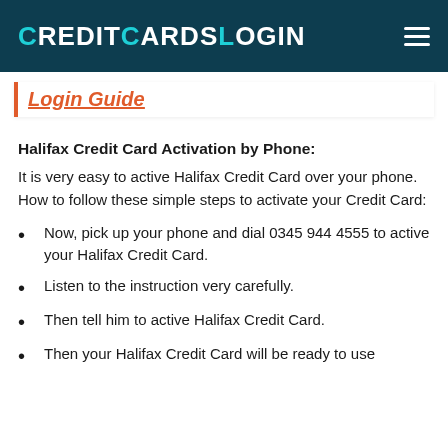CreditCardsLogin
Login Guide
Halifax Credit Card Activation by Phone:
It is very easy to active Halifax Credit Card over your phone. How to follow these simple steps to activate your Credit Card:
Now, pick up your phone and dial 0345 944 4555 to active your Halifax Credit Card.
Listen to the instruction very carefully.
Then tell him to active Halifax Credit Card.
Then your Halifax Credit Card will be ready to use